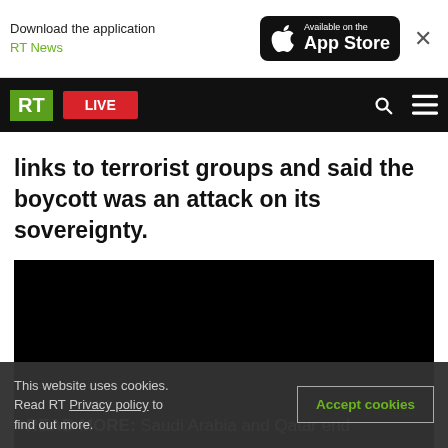Download the application RT News | Available on the App Store
RT LIVE
links to terrorist groups and said the boycott was an attack on its sovereignty.
[Figure (screenshot): Black video player with READ MORE overlay text: Saudi Arabia and Qatar end...]
READ MORE: Saudi Arabia and Qatar end
This website uses cookies. Read RT Privacy policy to find out more.